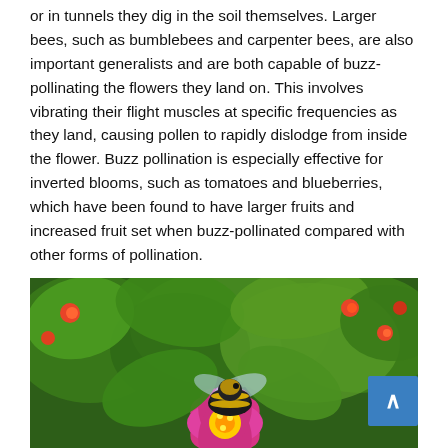or in tunnels they dig in the soil themselves. Larger bees, such as bumblebees and carpenter bees, are also important generalists and are both capable of buzz-pollinating the flowers they land on. This involves vibrating their flight muscles at specific frequencies as they land, causing pollen to rapidly dislodge from inside the flower. Buzz pollination is especially effective for inverted blooms, such as tomatoes and blueberries, which have been found to have larger fruits and increased fruit set when buzz-pollinated compared with other forms of pollination.
[Figure (photo): A bumblebee foraging on a bright pink/magenta flower (zinnia or lantana) surrounded by green leaves and small orange and red flowers in the background. A blue scroll-to-top button is visible in the lower-right corner of the image.]